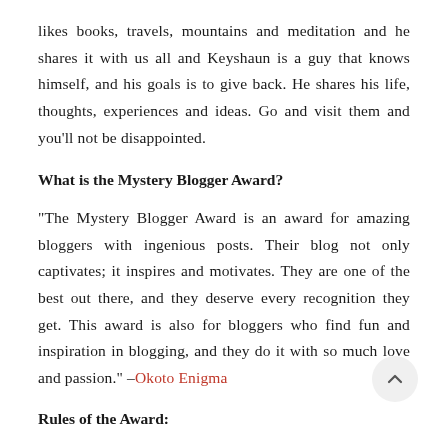likes books, travels, mountains and meditation and he shares it with us all and Keyshaun is a guy that knows himself, and his goals is to give back. He shares his life, thoughts, experiences and ideas. Go and visit them and you'll not be disappointed.
What is the Mystery Blogger Award?
"The Mystery Blogger Award is an award for amazing bloggers with ingenious posts. Their blog not only captivates; it inspires and motivates. They are one of the best out there, and they deserve every recognition they get. This award is also for bloggers who find fun and inspiration in blogging, and they do it with so much love and passion." –Okoto Enigma
Rules of the Award: